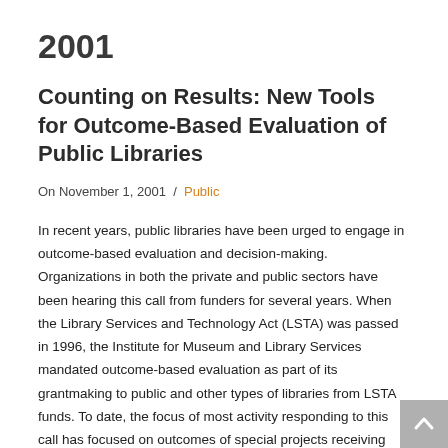2001
Counting on Results: New Tools for Outcome-Based Evaluation of Public Libraries
On November 1, 2001  /  Public
In recent years, public libraries have been urged to engage in outcome-based evaluation and decision-making. Organizations in both the private and public sectors have been hearing this call from funders for several years. When the Library Services and Technology Act (LSTA) was passed in 1996, the Institute for Museum and Library Services mandated outcome-based evaluation as part of its grantmaking to public and other types of libraries from LSTA funds. To date, the focus of most activity responding to this call has focused on outcomes of special projects receiving short-term funding via state and federal grants. The Counting on Results (CoR) project shifted the focus from special